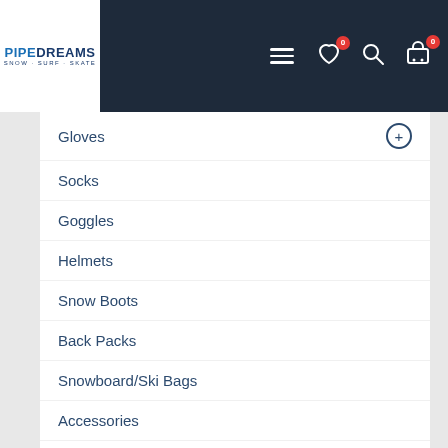PIPEDREAMS SNOW · SURF · SKATE
Gloves
Socks
Goggles
Helmets
Snow Boots
Back Packs
Snowboard/Ski Bags
Accessories
Servicing
WATERSPORTS
SKATE & SCOOTER
CLOTHING
FITNESS